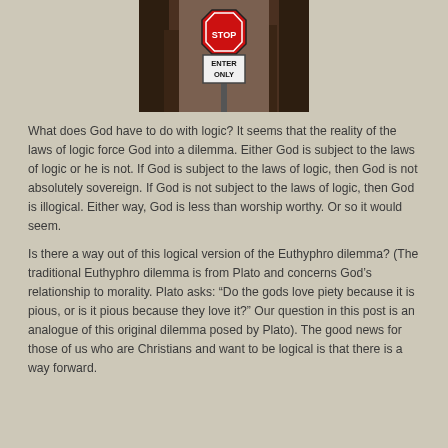[Figure (photo): Photo of a street sign pole showing an 'ENTER ONLY' sign below a partially visible red stop sign, against a dark rainy background.]
What does God have to do with logic? It seems that the reality of the laws of logic force God into a dilemma. Either God is subject to the laws of logic or he is not. If God is subject to the laws of logic, then God is not absolutely sovereign. If God is not subject to the laws of logic, then God is illogical. Either way, God is less than worship worthy. Or so it would seem.
Is there a way out of this logical version of the Euthyphro dilemma? (The traditional Euthyphro dilemma is from Plato and concerns God's relationship to morality. Plato asks: “Do the gods love piety because it is pious, or is it pious because they love it?” Our question in this post is an analogue of this original dilemma posed by Plato). The good news for those of us who are Christians and want to be logical is that there is a way forward.